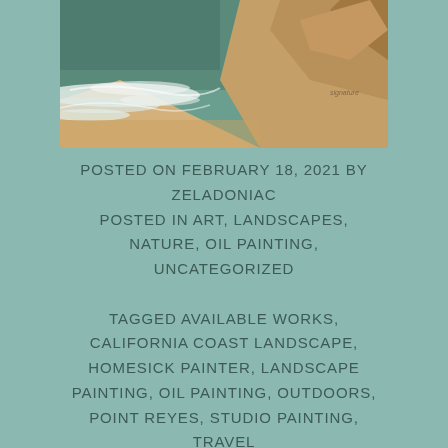[Figure (photo): Oil painting of California coast viewed from above, showing rocky cliffs, sandy beach, and ocean waves with foam.]
POSTED ON FEBRUARY 18, 2021 BY ZELADONIAC
POSTED IN ART, LANDSCAPES, NATURE, OIL PAINTING, UNCATEGORIZED
TAGGED AVAILABLE WORKS, CALIFORNIA COAST LANDSCAPE, HOMESICK PAINTER, LANDSCAPE PAINTING, OIL PAINTING, OUTDOORS, POINT REYES, STUDIO PAINTING, TRAVEL